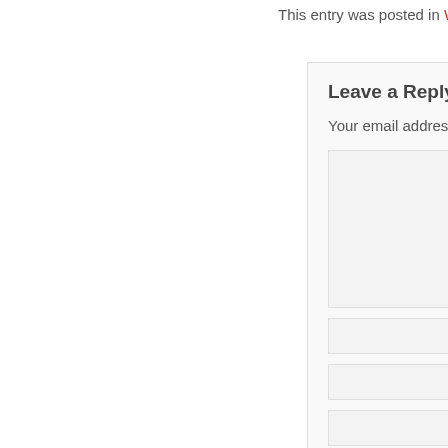This entry was posted in Web Hos
Leave a Reply
Your email address will not b
Save my name, email, an
Post Comment